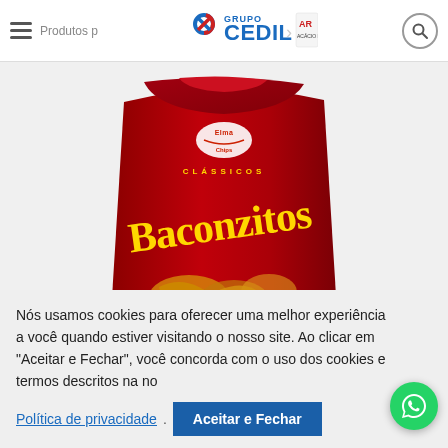Grupo CEDIL / Acácio Ribeiro — site header with hamburger menu and search icon
[Figure (photo): Baconzitos snack product bag — red bag with yellow 'Baconzitos' logo text and snack imagery, Elma Chips brand, Clássicos line]
Nós usamos cookies para oferecer uma melhor experiência a você quando estiver visitando o nosso site. Ao clicar em "Aceitar e Fechar", você concorda com o uso dos cookies e termos descritos na no
Política de privacidade
Aceitar e Fechar